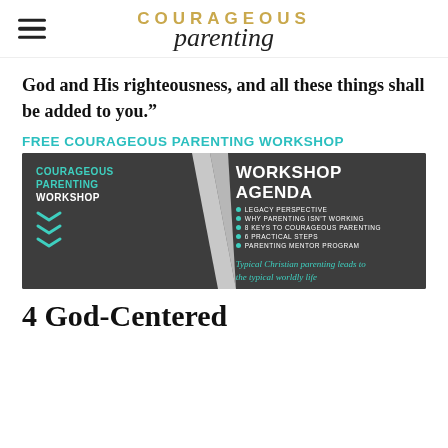COURAGEOUS parenting
God and His righteousness, and all these things shall be added to you.”
FREE COURAGEOUS PARENTING WORKSHOP
[Figure (infographic): Workshop promotional image with dark gray background. Left side: 'COURAGEOUS PARENTING WORKSHOP' text with teal chevron arrows. Right side: 'WORKSHOP AGENDA' heading with bullet list: LEGACY PERSPECTIVE, WHY PARENTING ISN'T WORKING, 8 KEYS TO COURAGEOUS PARENTING, 6 PRACTICAL STEPS, PARENTING MENTOR PROGRAM. Bottom tagline: 'Typical Christian parenting leads to the typical worldly life']
4 God-Centered